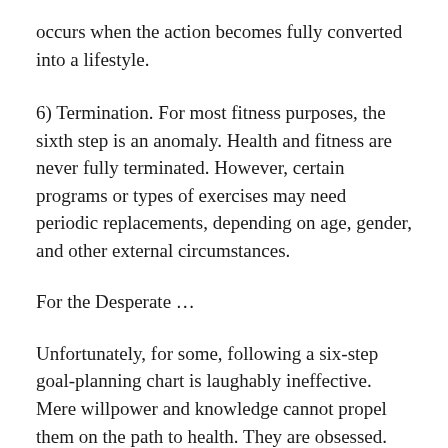occurs when the action becomes fully converted into a lifestyle.
6) Termination. For most fitness purposes, the sixth step is an anomaly. Health and fitness are never fully terminated. However, certain programs or types of exercises may need periodic replacements, depending on age, gender, and other external circumstances.
For the Desperate …
Unfortunately, for some, following a six-step goal-planning chart is laughably ineffective. Mere willpower and knowledge cannot propel them on the path to health. They are obsessed. They are addicted to food.
Because food releases pain-numbing endorphins and pleasure-causing dopamine, food may become a drug for obsessive-